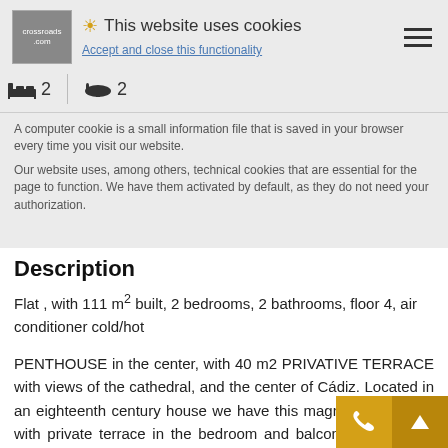[Figure (screenshot): Cookie consent overlay banner with logo, sun icon, title 'This website uses cookies', hamburger menu icon, bedroom/bathroom icons (2 beds, 2 baths), and cookie policy text]
Description
Flat , with 111 m² built, 2 bedrooms, 2 bathrooms, floor 4, air conditioner cold/hot
PENTHOUSE in the center, with 40 m2 PRIVATIVE TERRACE with views of the cathedral, and the center of Cádiz. Located in an eighteenth century house we have this magnificent duplex, with private terrace in the bedroom and balcony in the living room from where you can access another terrace, communal. The spacious and very bright living room communicates with a kitchen with office, fully assembled modern design and stately covering walls furniture wood appliances, to keep harmony with the rest of